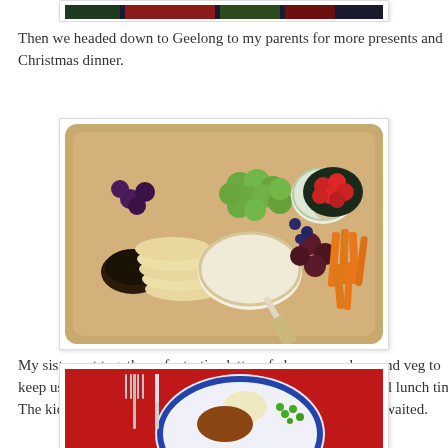[Figure (photo): Top portion of a photo showing Christmas flowers/decorations, partially cropped at top of page]
Then we headed down to Geelong to my parents for more presents and Christmas dinner.
[Figure (photo): A wooden tray/platter with cheese, crackers, green and dark grapes, cherry tomatoes in a dark bowl, carrot sticks, a round brie/camembert cheese with knife, and a small dark sauce bowl]
My sister put together a fantastic platter of cheese, crackers and veg to keep us going because Christmas dinner is later than our usual lunch time.  The kids were happy to play Harry Potter Cluedo while they waited.
[Figure (photo): A plate of Christmas dinner on a red tablecloth, showing peas, mashed potato, meat, on a decorative blue and white plate with fork and knife]